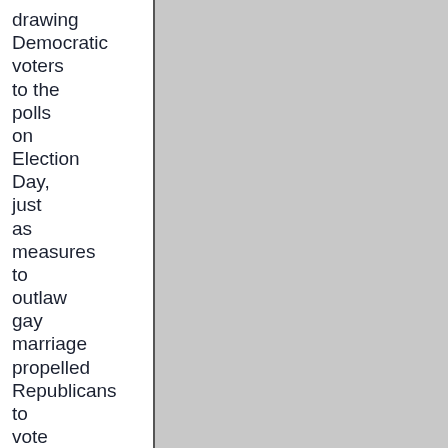drawing Democratic voters to the polls on Election Day, just as measures to outlaw gay marriage propelled Republicans to vote in several states two